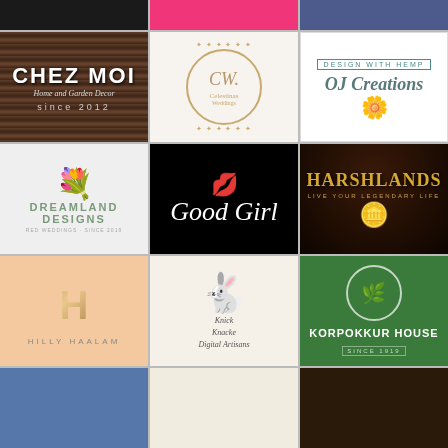[Figure (logo): Black color bar]
[Figure (logo): Hot pink / magenta color bar]
[Figure (logo): Navy blue color bar]
[Figure (logo): Chez Moi Home and Garden Decor since 2012 logo on wood texture background]
[Figure (logo): CW. Celestinas Weddings ornate circular logo]
[Figure (logo): Design with Hemp - OJ Creations logo with flower]
[Figure (logo): Dreamland Designs floral logo on light background]
[Figure (logo): Good Girl script logo with red lips on black background]
[Figure (logo): Harshlands live your legendary life logo with coin on dark smoky background]
[Figure (logo): Hilly Haalam gold H monogram logo on peach background]
[Figure (logo): Knick Knacke Digital Artisans logo with illustrated rabbit wearing top hat]
[Figure (logo): Korpokkur House green logo with leaf circle emblem]
[Figure (logo): Bottom partial logo - blue/teal]
[Figure (logo): Bottom partial logo - light/cream]
[Figure (logo): Bottom partial logo - dark brown]